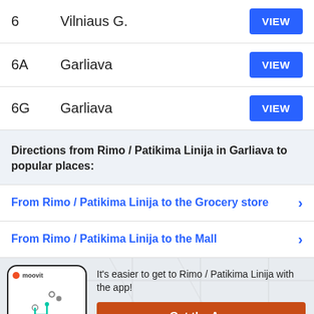| Route | Destination | Action |
| --- | --- | --- |
| 6 | Vilniaus G. | VIEW |
| 6A | Garliava | VIEW |
| 6G | Garliava | VIEW |
Directions from Rimo / Patikima Linija in Garliava to popular places:
From Rimo / Patikima Linija to the Grocery store
From Rimo / Patikima Linija to the Mall
It's easier to get to Rimo / Patikima Linija with the app!
Get the App